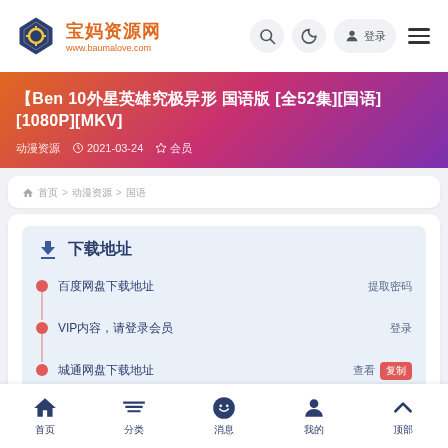宝妈资源网 www.baumalove.com
【Ben 10外星英雄究极异形 国语版 [全52集][国语][1080P][MKV]
动漫资源    2021-03-24    钻石 会员
宝妈资源网首页 > 动漫资源 > 国语
下载地址
百度网盘下载地址    提取密码
VIP内容，请登录会员    登录
城通网盘下载地址    查看  复制
首页  分类  消息  我的  顶部